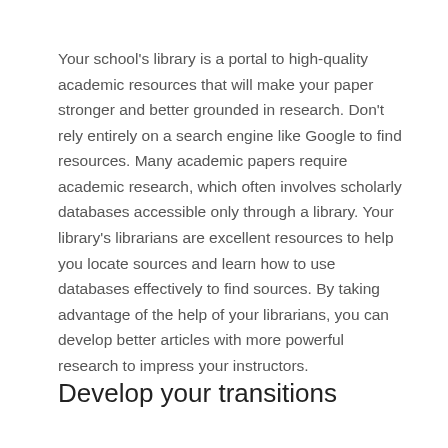Your school's library is a portal to high-quality academic resources that will make your paper stronger and better grounded in research. Don't rely entirely on a search engine like Google to find resources. Many academic papers require academic research, which often involves scholarly databases accessible only through a library. Your library's librarians are excellent resources to help you locate sources and learn how to use databases effectively to find sources. By taking advantage of the help of your librarians, you can develop better articles with more powerful research to impress your instructors.
Develop your transitions